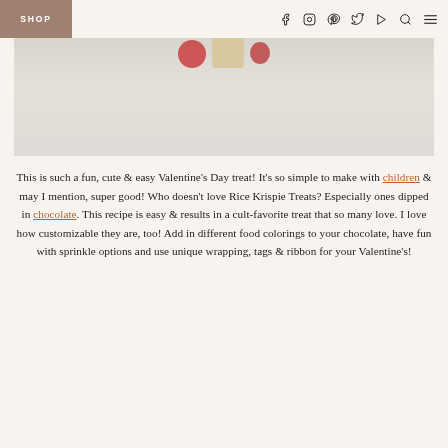SHOP
[Figure (photo): Top portion of a food photo showing Rice Krispie Treats decorated for Valentine's Day, with red and white/beige colors, on a light gray/white background.]
This is such a fun, cute & easy Valentine's Day treat! It's so simple to make with children & may I mention, super good! Who doesn't love Rice Krispie Treats? Especially ones dipped in chocolate. This recipe is easy & results in a cult-favorite treat that so many love. I love how customizable they are, too! Add in different food colorings to your chocolate, have fun with sprinkle options and use unique wrapping, tags & ribbon for your Valentine's!